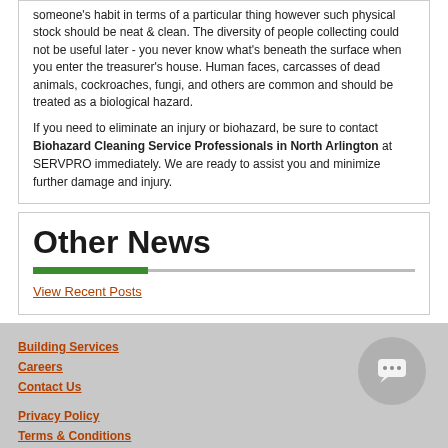someone's habit in terms of a particular thing however such physical stock should be neat & clean. The diversity of people collecting could not be useful later - you never know what's beneath the surface when you enter the treasurer's house. Human faces, carcasses of dead animals, cockroaches, fungi, and others are common and should be treated as a biological hazard.
If you need to eliminate an injury or biohazard, be sure to contact Biohazard Cleaning Service Professionals in North Arlington at SERVPRO immediately. We are ready to assist you and minimize further damage and injury.
Other News
View Recent Posts
Building Services
Careers
Contact Us
Privacy Policy
Terms & Conditions